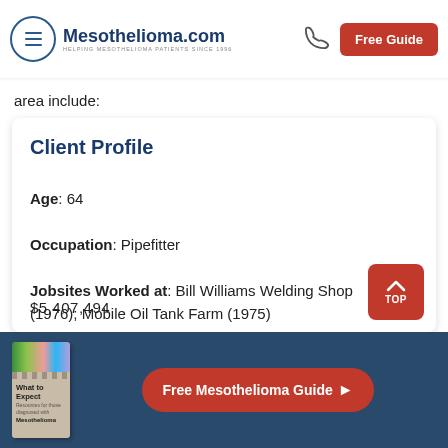Mesothelioma.com — HELPING MESOTHELIOMA PATIENTS SINCE 1996 | Free Guide
area include:
Client Profile
Age: 64
Occupation: Pipefitter
Jobsites Worked at: Bill Williams Welding Shop (1976); Mobile Oil Tank Farm (1975)
Free Mesothelioma Guide